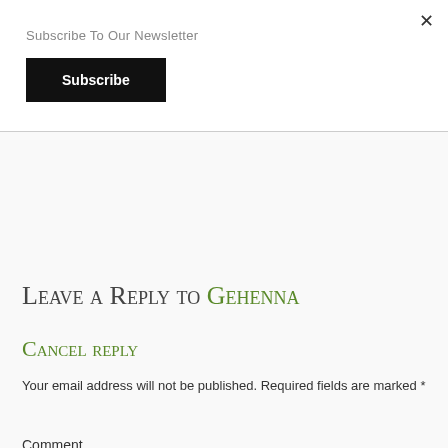×
Subscribe To Our Newsletter
Subscribe
Leave a Reply to Gehenna Cancel reply
Your email address will not be published. Required fields are marked *
Comment